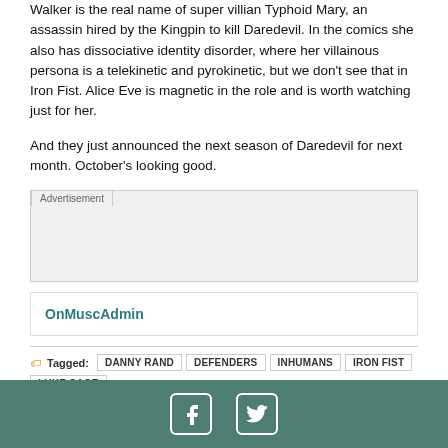Walker is the real name of super villian Typhoid Mary, an assassin hired by the Kingpin to kill Daredevil. In the comics she also has dissociative identity disorder, where her villainous persona is a telekinetic and pyrokinetic, but we don't see that in Iron Fist. Alice Eve is magnetic in the role and is worth watching just for her.
And they just announced the next season of Daredevil for next month. October's looking good.
[Figure (other): Advertisement placeholder box]
OnMuscAdmin
Tagged: DANNY RAND  DEFENDERS  INHUMANS  IRON FIST  LUKE CAGE
[Figure (other): Footer bar with Facebook and Twitter social icons on teal/green background]